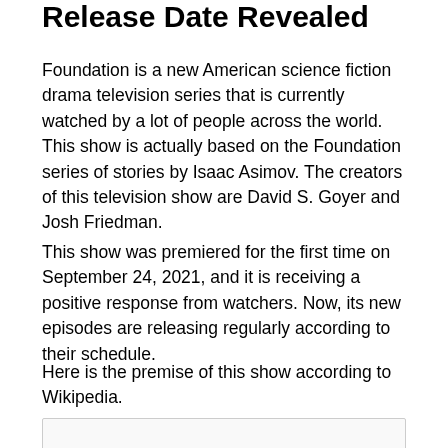Release Date Revealed
Foundation is a new American science fiction drama television series that is currently watched by a lot of people across the world. This show is actually based on the Foundation series of stories by Isaac Asimov. The creators of this television show are David S. Goyer and Josh Friedman.
This show was premiered for the first time on September 24, 2021, and it is receiving a positive response from watchers. Now, its new episodes are releasing regularly according to their schedule.
Here is the premise of this show according to Wikipedia.